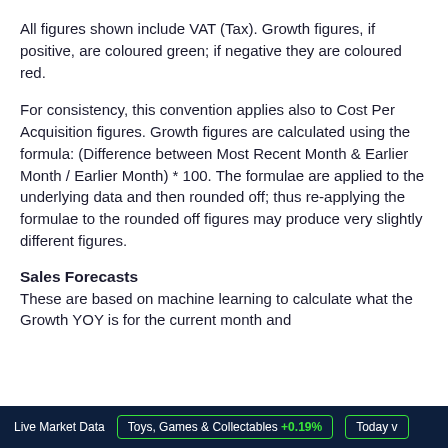All figures shown include VAT (Tax). Growth figures, if positive, are coloured green; if negative they are coloured red.
For consistency, this convention applies also to Cost Per Acquisition figures. Growth figures are calculated using the formula: (Difference between Most Recent Month & Earlier Month / Earlier Month) * 100. The formulae are applied to the underlying data and then rounded off; thus re-applying the formulae to the rounded off figures may produce very slightly different figures.
Sales Forecasts
These are based on machine learning to calculate what the Growth YOY is for the current month and
Live Market Data   Toys, Games & Collectables +0.19%   Today v